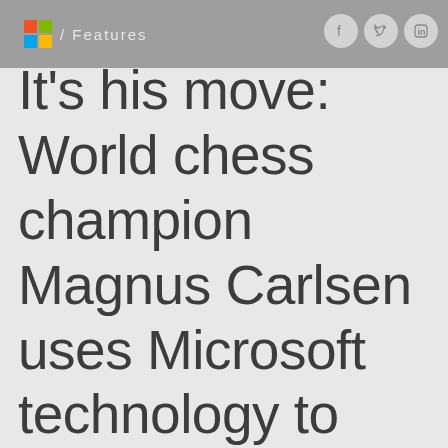/ Features
It's his move: World chess champion Magnus Carlsen uses Microsoft technology to collaborate with his team and keep strategies secure